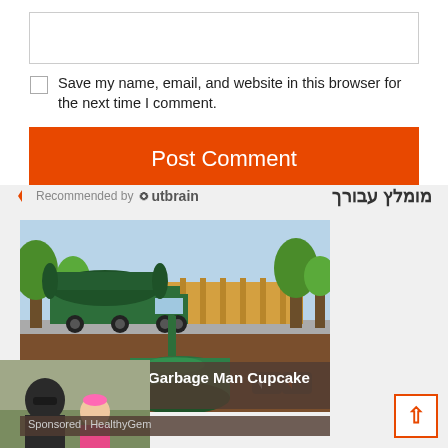[text input box]
Save my name, email, and website in this browser for the next time I comment.
Post Comment
Recommended by Outbrain
מומלץ עבורך
[Figure (illustration): Illustration of a green tanker truck above ground connected to a green underground tank/septic system, with trees and a wooden fence in the background]
[Pics] Girl Gives Garbage Man Cupcake Every Wee…
Sponsored | HealthyGem